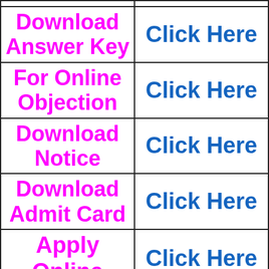|  |  |
| Download Answer Key | Click Here |
| For Online Objection | Click Here |
| Download Notice | Click Here |
| Download Admit Card | Click Here |
| Apply Online | Click Here |